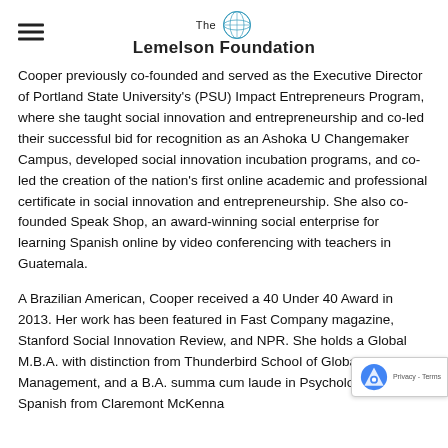The Lemelson Foundation
Cooper previously co-founded and served as the Executive Director of Portland State University's (PSU) Impact Entrepreneurs Program, where she taught social innovation and entrepreneurship and co-led their successful bid for recognition as an Ashoka U Changemaker Campus, developed social innovation incubation programs, and co-led the creation of the nation's first online academic and professional certificate in social innovation and entrepreneurship. She also co-founded Speak Shop, an award-winning social enterprise for learning Spanish online by video conferencing with teachers in Guatemala.
A Brazilian American, Cooper received a 40 Under 40 Award in 2013. Her work has been featured in Fast Company magazine, Stanford Social Innovation Review, and NPR. She holds a Global M.B.A. with distinction from Thunderbird School of Global Management, and a B.A. summa cum laude in Psychology and Spanish from Claremont McKenna…